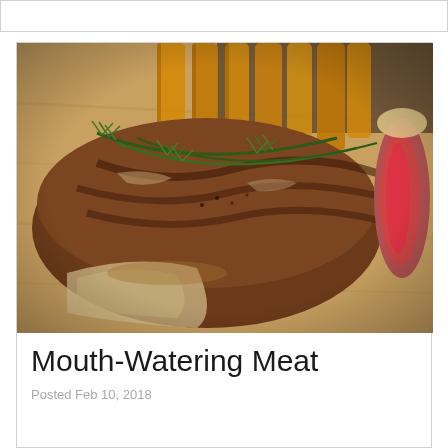[Figure (photo): A grilled ribeye steak topped with fresh rosemary sprigs, served on a wooden cutting board alongside thick-cut potato wedges. The steak is sliced to reveal a pink medium-rare interior.]
Mouth-Watering Meat
Posted Feb 10, 2018